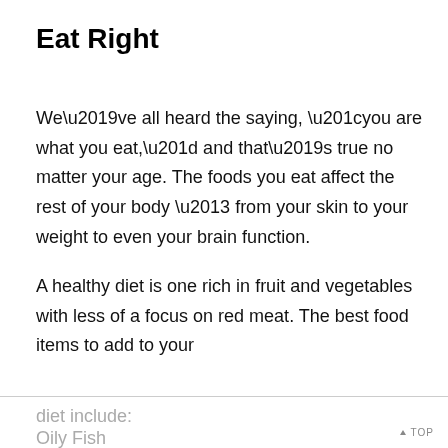Eat Right
We’ve all heard the saying, “you are what you eat,” and that’s true no matter your age. The foods you eat affect the rest of your body – from your skin to your weight to even your brain function.
A healthy diet is one rich in fruit and vegetables with less of a focus on red meat. The best food items to add to your diet include:
Oily Fish